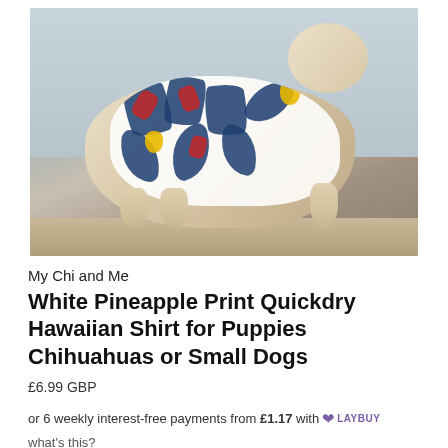[Figure (photo): A small dog (likely a Chihuahua puppy) wearing a white Hawaiian shirt with pineapple and tropical leaf print, sitting on a stone ledge or platform, viewed from the side/back.]
My Chi and Me
White Pineapple Print Quickdry Hawaiian Shirt for Puppies Chihuahuas or Small Dogs
£6.99 GBP
or 6 weekly interest-free payments from £1.17 with LAYBUY what's this?
or 4 interest-free payments of £1.75 with